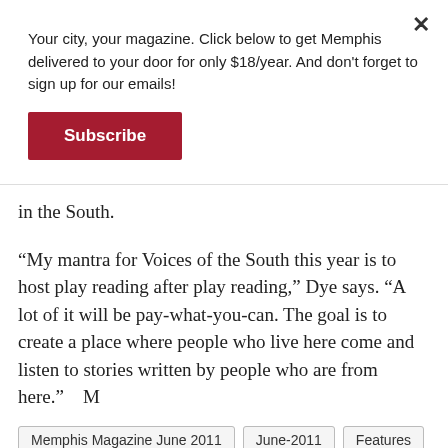Your city, your magazine. Click below to get Memphis delivered to your door for only $18/year. And don't forget to sign up for our emails!
Subscribe
in the South.
“My mantra for Voices of the South this year is to host play reading after play reading,” Dye says. “A lot of it will be pay-what-you-can. The goal is to create a place where people who live here come and listen to stories written by people who are from here.”    M
Memphis Magazine June 2011
June-2011
Features
Chris Davis